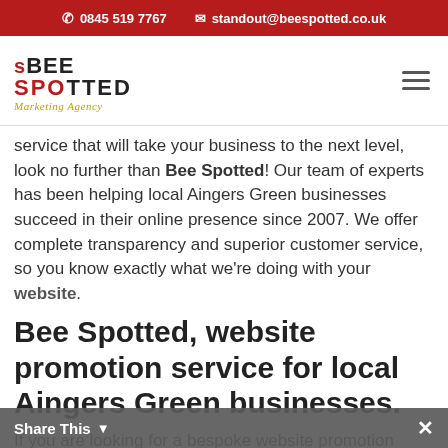0845 519 7767  standout@beespotted.co.uk
[Figure (logo): Bee Spotted Marketing Agency logo with red and black text and golden italic tagline]
service that will take your business to the next level, look no further than Bee Spotted! Our team of experts has been helping local Aingers Green businesses succeed in their online presence since 2007. We offer complete transparency and superior customer service, so you know exactly what we're doing with your website.
Bee Spotted, website promotion service for local Aingers Green businesses.
If you are looking for a bespoke website promotion service, then look no further. Bee Spotted offer a